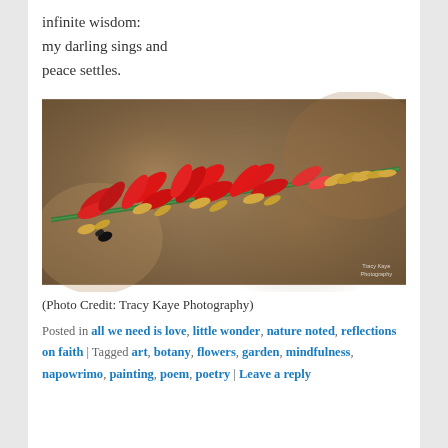infinite wisdom:
my darling sings and
peace settles.
[Figure (photo): Close-up photograph of red coral bean or Erythrina flowers on a green stem, against a brown bokeh background. Photo credit: Tracy Kaye Photography.]
(Photo Credit: Tracy Kaye Photography)
Posted in all we need is love, little wonder, nature noted, reflections on faith | Tagged art, botany, flowers, garden, mindfulness, napowrimo, painting, poem, poetry | Leave a reply